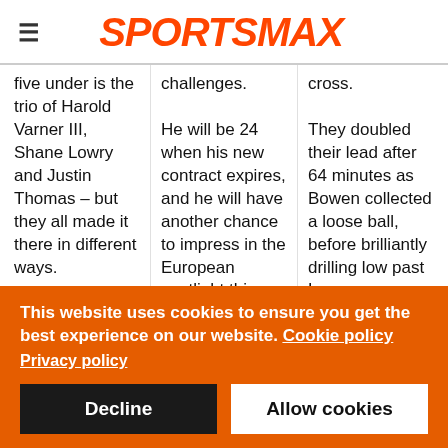SPORTSMAX
five under is the trio of Harold Varner III, Shane Lowry and Justin Thomas – but they all made it there in different ways. Varner excelled in the tee to green
challenges. He will be 24 when his new contract expires, and he will have another chance to impress in the European spotlight this
cross. They doubled their lead after 64 minutes as Bowen collected a loose ball, before brilliantly drilling low past Lucas
This website uses cookies to ensure you get the best experience on our website. Cookie policy Privacy policy
Decline
Allow cookies